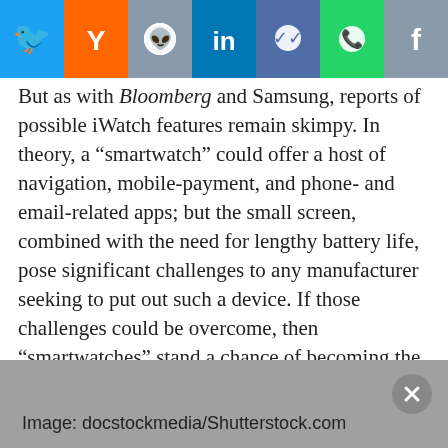[Figure (other): Social sharing bar with icons for Twitter, Y Combinator, Reddit, LinkedIn, Messenger, WhatsApp, and Facebook]
But as with Bloomberg and Samsung, reports of possible iWatch features remain skimpy. In theory, a “smartwatch” could offer a host of navigation, mobile-payment, and phone- and email-related apps; but the small screen, combined with the need for lengthy battery life, pose significant challenges to any manufacturer seeking to put out such a device. If those challenges could be overcome, then “smartmatches” stand a chance of becoming the Next Big Thing—not to mention the Next Big Battleground between longtime rivals Samsung and Apple.
Image: docstockmedia/Shutterstock.com